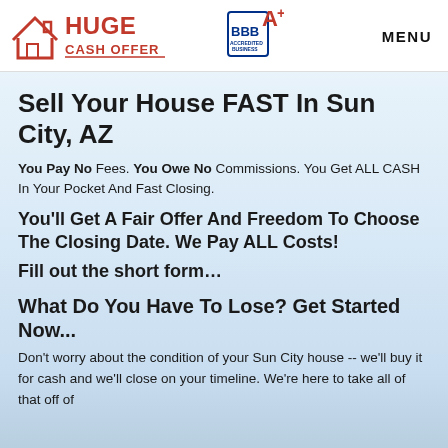[Figure (logo): Huge Cash Offer logo with house icon in red/coral, text 'HUGE CASH OFFER' in red]
[Figure (logo): BBB Accredited Business A+ badge]
MENU
Sell Your House FAST In Sun City, AZ
You Pay No Fees. You Owe No Commissions. You Get ALL CASH In Your Pocket And Fast Closing.
You'll Get A Fair Offer And Freedom To Choose The Closing Date. We Pay ALL Costs!
Fill out the short form…
What Do You Have To Lose? Get Started Now...
Don't worry about the condition of your Sun City house -- we'll buy it for cash and we'll close on your timeline. We're here to take all of that off of